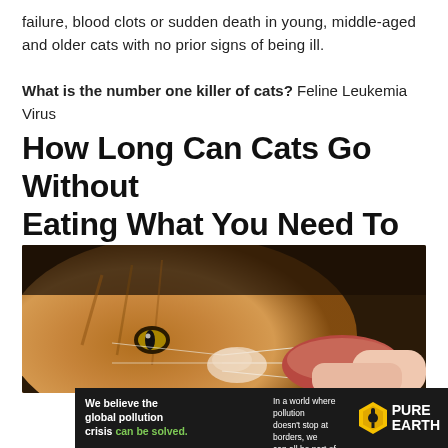failure, blood clots or sudden death in young, middle-aged and older cats with no prior signs of being ill.
What is the number one killer of cats? Feline Leukemia Virus
How Long Can Cats Go Without Eating What You Need To Know
[Figure (photo): Close-up photo of an orange tabby cat being fed a piece of raw meat by a human hand]
[Figure (infographic): Pure Earth advertisement banner: 'We believe the global pollution crisis can be solved. In a world where pollution doesn't stop at borders, we can all be part of the solution. JOIN US.' with Pure Earth logo]